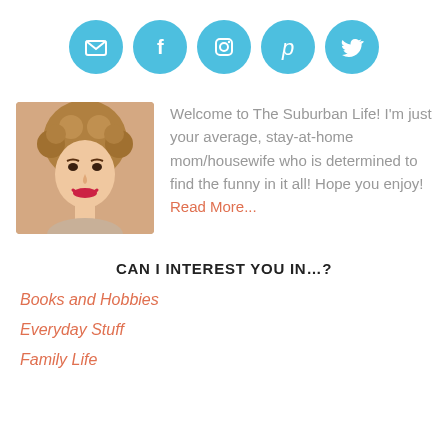[Figure (infographic): Five teal circular social media icons in a row: email/envelope, Facebook, Instagram, Pinterest, Twitter]
[Figure (photo): Portrait photo of a smiling woman with curly hair and red lipstick]
Welcome to The Suburban Life! I'm just your average, stay-at-home mom/housewife who is determined to find the funny in it all! Hope you enjoy! Read More...
CAN I INTEREST YOU IN…?
Books and Hobbies
Everyday Stuff
Family Life